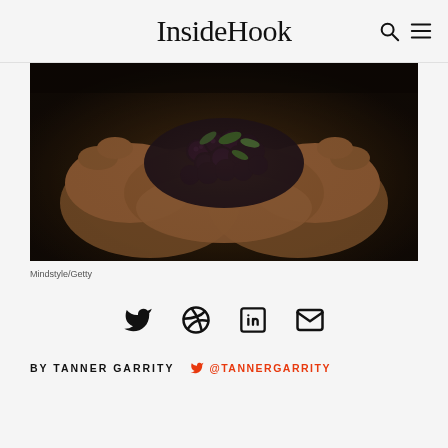InsideHook
[Figure (photo): Pair of weathered hands cupping a collection of fresh blackberries with green leaves, close-up shot, dark moody background]
Mindstyle/Getty
[Figure (infographic): Social sharing icons: Twitter, Pinterest, LinkedIn, Email (envelope)]
BY TANNER GARRITY   @TANNERGARRITY